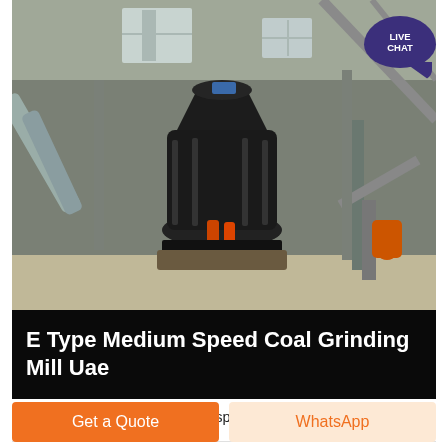[Figure (photo): Industrial grinding mill (E Type Medium Speed Coal Grinding Mill) installed inside a large factory/warehouse building. Heavy dark machinery in the center with pipes, steel structures, and a conveyor belt visible in the background. Concrete floor with industrial equipment surroundings.]
E Type Medium Speed Coal Grinding Mill Uae
The EL pulverizer is a medium speed ball-and-race mill